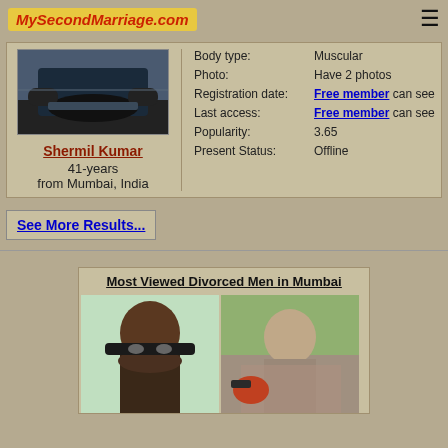MySecondMarriage.com
[Figure (photo): Profile photo showing motorcycle]
Shermil Kumar
41-years
from Mumbai, India
| Body type: | Muscular |
| Photo: | Have 2 photos |
| Registration date: | Free member can see |
| Last access: | Free member can see |
| Popularity: | 3.65 |
| Present Status: | Offline |
See More Results...
Most Viewed Divorced Men in Mumbai
[Figure (photo): Photo of a man with sunglasses]
[Figure (photo): Photo of a man on a motorcycle]